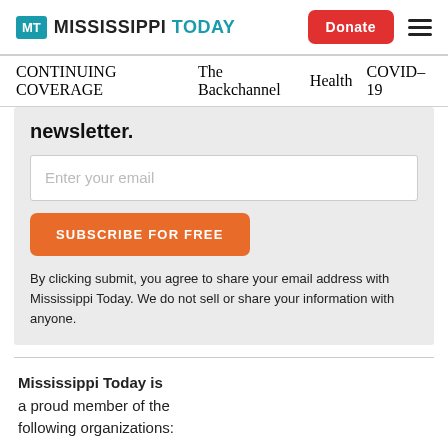MT MISSISSIPPI TODAY | Donate | menu
CONTINUING COVERAGE  The Backchannel  Health  COVID-19
newsletter.
Enter your email
SUBSCRIBE FOR FREE
By clicking submit, you agree to share your email address with Mississippi Today. We do not sell or share your information with anyone.
Mississippi Today is a proud member of the following organizations: